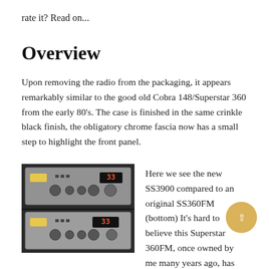rate it? Read on...
Overview
Upon removing the radio from the packaging, it appears remarkably similar to the good old Cobra 148/Superstar 360 from the early 80's. The case is finished in the same crinkle black finish, the obligatory chrome fascia now has a small step to highlight the front panel.
[Figure (photo): Two CB radio units stacked on top of each other — the new SS3900 (top) and an original SS360FM (bottom), both showing front panels with channel displays reading 33.]
Here we see the new SS3900 compared to an original SS360FM (bottom) It's hard to believe this Superstar 360FM, once owned by me many years ago, has been in my friends cupboard, untouched for at least 15